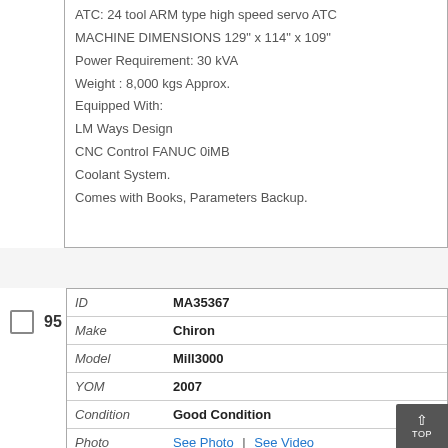ATC: 24 tool ARM type high speed servo ATC
MACHINE DIMENSIONS 129" x 114" x 109"
Power Requirement: 30 kVA
Weight : 8,000 kgs Approx.
Equipped With:
LM Ways Design
CNC Control FANUC 0iMB
Coolant System.
Comes with Books, Parameters Backup.
|  |  |
| --- | --- |
| ID | MA35367 |
| Make | Chiron |
| Model | Mill3000 |
| YOM | 2007 |
| Condition | Good Condition |
| Photo | See Photo  |  See Video |
| CNC Siemens 840D |  |